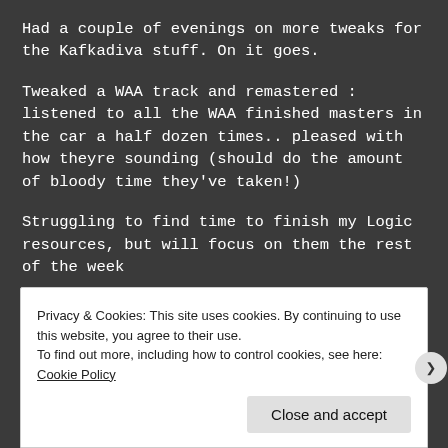Had a couple of evenings on more tweaks for the Kafkadiva stuff. On it goes.
Tweaked a WAA track and remastered : listened to all the WAA finished masters in the car a half dozen times.. pleased with how theyre sounding (should do the amount of bloody time they've taken!)
Struggling to find time to finish my Logic resources, but will focus on them the rest of the week
May 21st
Privacy & Cookies: This site uses cookies. By continuing to use this website, you agree to their use.
To find out more, including how to control cookies, see here: Cookie Policy
Close and accept